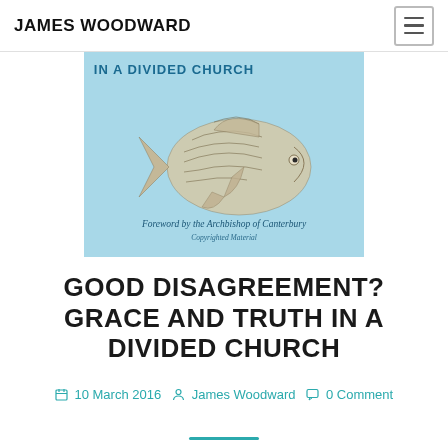JAMES WOODWARD
[Figure (illustration): Book cover of 'Good Disagreement? Grace and Truth in a Divided Church' showing a fish made of smaller fish on a light blue background, with text 'Foreword by the Archbishop of Canterbury' and 'Copyrighted Material']
GOOD DISAGREEMENT? GRACE AND TRUTH IN A DIVIDED CHURCH
10 March 2016  James Woodward  0 Comment